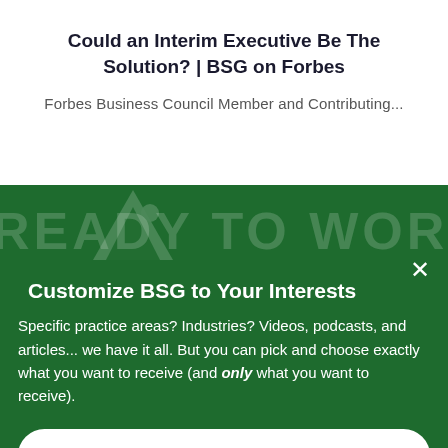Could an Interim Executive Be The Solution? | BSG on Forbes
Forbes Business Council Member and Contributing...
[Figure (screenshot): Green background section with large faint text overlay reading 'READY TO WORK WITH BSG' and a faint mountain/triangle logo icon]
Customize BSG to Your Interests
Specific practice areas? Industries? Videos, podcasts, and articles... we have it all. But you can pick and choose exactly what you want to receive (and only what you want to receive).
Customize BSG